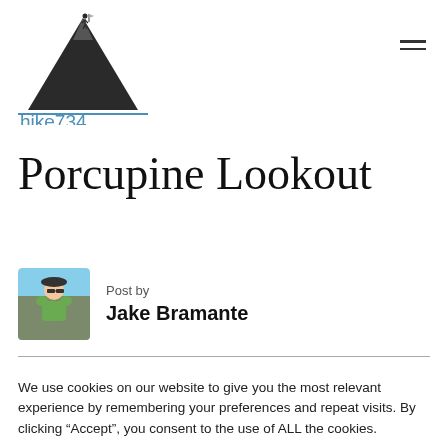[Figure (logo): hike734 logo with mountain silhouette and hiker on top, blue text 'hike734' below with blue underline]
Porcupine Lookout
Post by
Jake Bramante
We use cookies on our website to give you the most relevant experience by remembering your preferences and repeat visits. By clicking “Accept”, you consent to the use of ALL the cookies.
Do not sell my personal information.